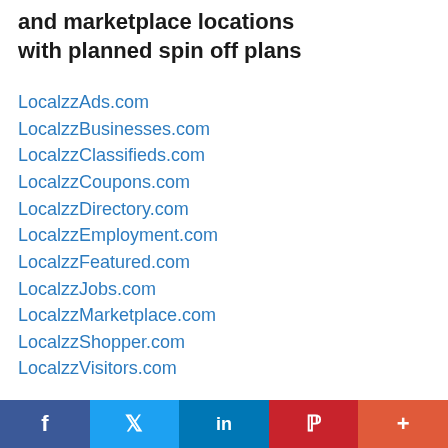and marketplace locations with planned spin off plans
LocalzzAds.com
LocalzzBusinesses.com
LocalzzClassifieds.com
LocalzzCoupons.com
LocalzzDirectory.com
LocalzzEmployment.com
LocalzzFeatured.com
LocalzzJobs.com
LocalzzMarketplace.com
LocalzzShopper.com
LocalzzVisitors.com
LocalsAds.com
LocalsApartments.com
f  [Twitter bird]  in  P  +